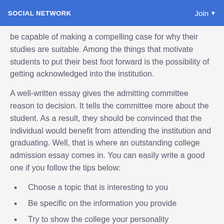SOCIAL NETWORK    Join
be capable of making a compelling case for why their studies are suitable. Among the things that motivate students to put their best foot forward is the possibility of getting acknowledged into the institution.
A well-written essay gives the admitting committee reason to decision. It tells the committee more about the student. As a result, they should be convinced that the individual would benefit from attending the institution and graduating. Well, that is where an outstanding college admission essay comes in. You can easily write a good one if you follow the tips below:
Choose a topic that is interesting to you
Be specific on the information you provide
Try to show the college your personality